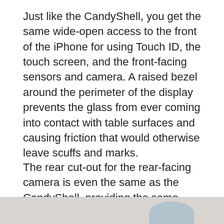Just like the CandyShell, you get the same wide-open access to the front of the iPhone for using Touch ID, the touch screen, and the front-facing sensors and camera. A raised bezel around the perimeter of the display prevents the glass from ever coming into contact with table surfaces and causing friction that would otherwise leave scuffs and marks.
The rear cut-out for the rear-facing camera is even the same as the CandyShell, providing the same great precision fit and not interfering with any of your photography or videography as you use your iPhone.
[Figure (photo): Partial image at bottom of page, light grey and blue tones, appears to be the bottom portion of a product or device photograph.]